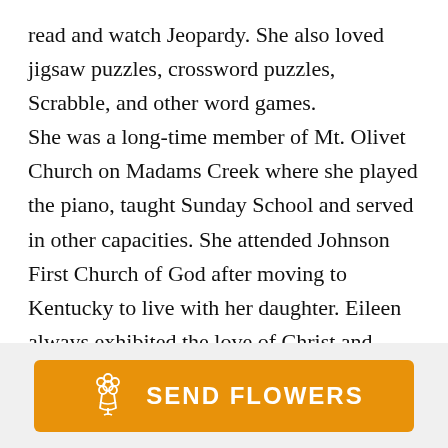read and watch Jeopardy. She also loved jigsaw puzzles, crossword puzzles, Scrabble, and other word games. She was a long-time member of Mt. Olivet Church on Madams Creek where she played the piano, taught Sunday School and served in other capacities. She attended Johnson First Church of God after moving to Kentucky to live with her daughter. Eileen always exhibited the love of Christ and inspired others with her strength and grace. She will be remembered for her kind, sweet spirit. She was deeply loved and will be
[Figure (other): Orange 'SEND FLOWERS' button with a flower bouquet icon]